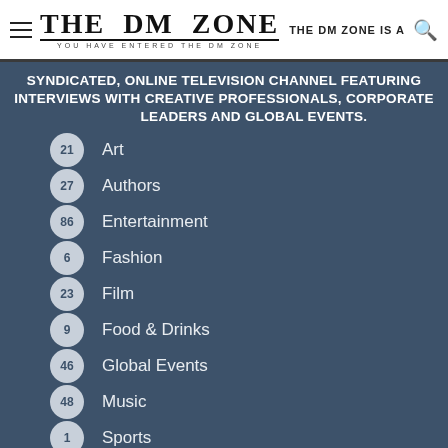THE DM ZONE — YOU HAVE ENTERED THE DM ZONE — THE DM ZONE IS A
SYNDICATED, ONLINE TELEVISION CHANNEL FEATURING INTERVIEWS WITH CREATIVE PROFESSIONALS, CORPORATE LEADERS AND GLOBAL EVENTS.
21 Art
27 Authors
86 Entertainment
6 Fashion
23 Film
9 Food & Drinks
46 Global Events
48 Music
1 Sports
16 Technology
46 Travel
6 Becoming Julia Morgan Play